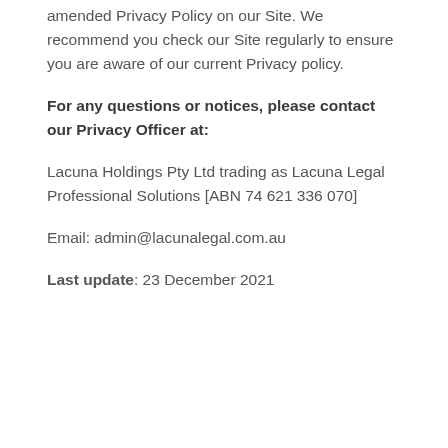amended Privacy Policy on our Site. We recommend you check our Site regularly to ensure you are aware of our current Privacy policy.
For any questions or notices, please contact our Privacy Officer at:
Lacuna Holdings Pty Ltd trading as Lacuna Legal Professional Solutions [ABN 74 621 336 070]
Email: admin@lacunalegal.com.au
Last update: 23 December 2021